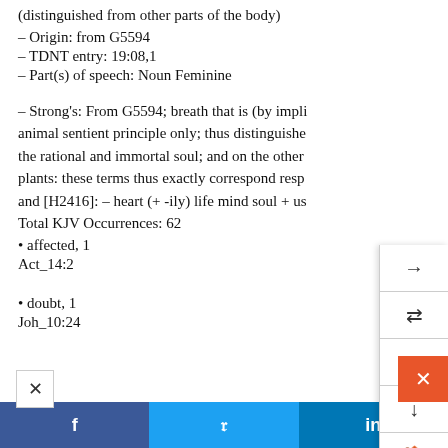(distinguished from other parts of the body)
– Origin: from G5594
– TDNT entry: 19:08,1
– Part(s) of speech: Noun Feminine
– Strong's: From G5594; breath that is (by impli animal sentient principle only; thus distinguishe the rational and immortal soul; and on the other plants: these terms thus exactly correspond respe and [H2416]: – heart (+ -ily) life mind soul + us
Total KJV Occurrences: 62
• affected, 1
Act_14:2
• doubt, 1
Joh_10:24